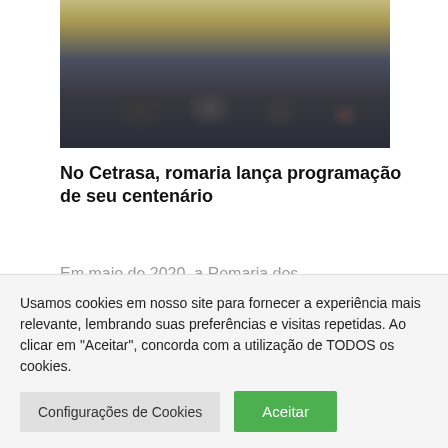[Figure (photo): Group of people seated at an event, audience in background, taken indoors with warm lighting]
No Cetrasa, romaria lança programação de seu centenário
Em maio de 2020, a Romaria dos Cavaleiros do Senhor Bom Jesus de Pirapora de Santo Amaro comemorará cem anos de existência ininterrupta, e que começou
Usamos cookies em nosso site para fornecer a experiência mais relevante, lembrando suas preferências e visitas repetidas. Ao clicar em "Aceitar", concorda com a utilização de TODOS os cookies.